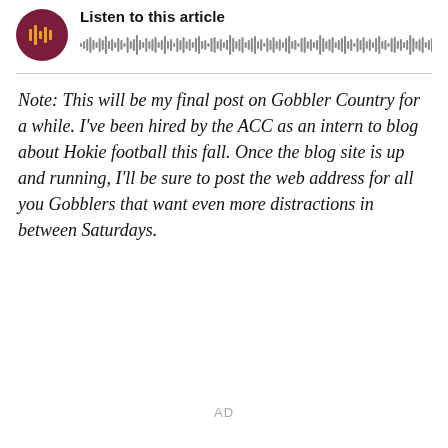[Figure (other): Audio player widget with dark red circular play button and waveform visualization. Header text reads 'Listen to this article'.]
Note: This will be my final post on Gobbler Country for a while. I've been hired by the ACC as an intern to blog about Hokie football this fall. Once the blog site is up and running, I'll be sure to post the web address for all you Gobblers that want even more distractions in between Saturdays.
AD